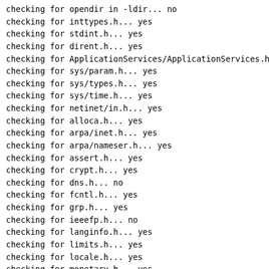checking for opendir in -ldir... no
checking for inttypes.h... yes
checking for stdint.h... yes
checking for dirent.h... yes
checking for ApplicationServices/ApplicationServices.h...
checking for sys/param.h... yes
checking for sys/types.h... yes
checking for sys/time.h... yes
checking for netinet/in.h... yes
checking for alloca.h... yes
checking for arpa/inet.h... yes
checking for arpa/nameser.h... yes
checking for assert.h... yes
checking for crypt.h... yes
checking for dns.h... no
checking for fcntl.h... yes
checking for grp.h... yes
checking for ieeefp.h... no
checking for langinfo.h... yes
checking for limits.h... yes
checking for locale.h... yes
checking for monetary.h... yes
checking for netdb.h... yes
checking for pwd.h... yes
checking for resolv.h... yes